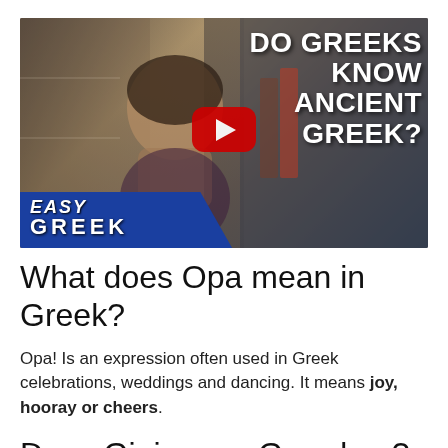[Figure (screenshot): YouTube video thumbnail for 'Easy Greek' channel showing a woman smiling in a shop, with text 'DO GREEKS KNOW ANCIENT GREEK?' and a red YouTube play button overlay. Bottom left shows 'EASY GREEK' branding on a blue diagonal stripe.]
What does Opa mean in Greek?
Opa! Is an expression often used in Greek celebrations, weddings and dancing. It means joy, hooray or cheers.
Does Gigi mean Grandma?